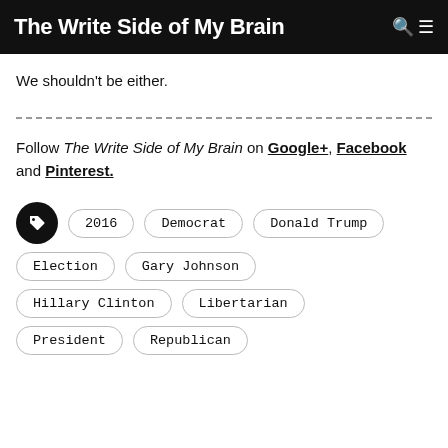The Write Side of My Brain
We shouldn't be either.
Follow The Write Side of My Brain on Google+, Facebook and Pinterest.
2016
Democrat
Donald Trump
Election
Gary Johnson
Hillary Clinton
Libertarian
President
Republican